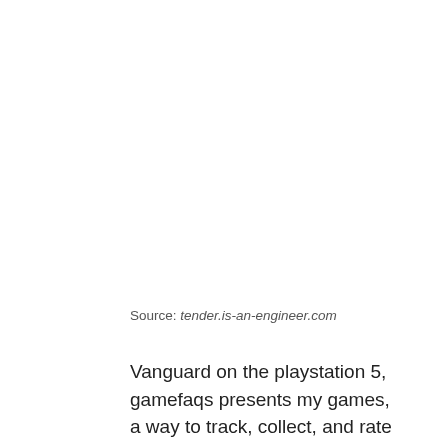Source: tender.is-an-engineer.com
Vanguard on the playstation 5, gamefaqs presents my games, a way to track, collect, and rate your games. Some players may not like the idea of their stats being publicly displayed, but if you're lucky, you'll gain some serious bragging rights over your